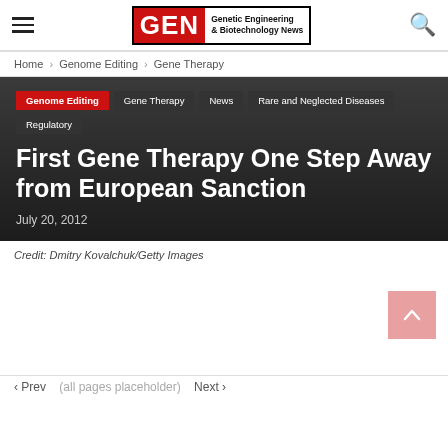GEN Genetic Engineering & Biotechnology News
Home › Genome Editing › Gene Therapy
Genome Editing
Gene Therapy
News
Rare and Neglected Diseases
Regulatory
First Gene Therapy One Step Away from European Sanction
July 20, 2012
Credit: Dmitry Kovalchuk/Getty Images